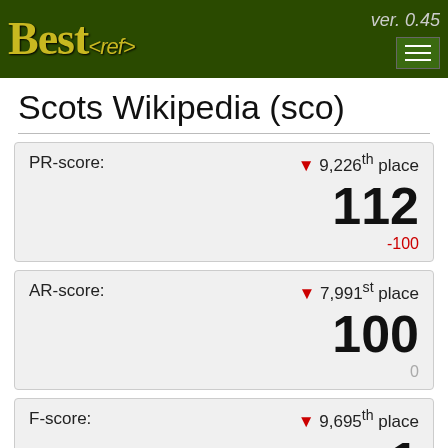Best<ref> ver. 0.45
Scots Wikipedia (sco)
PR-score: ▼ 9,226th place 112 -100
AR-score: ▼ 7,991st place 100 0
F-score: ▼ 9,695th place 1